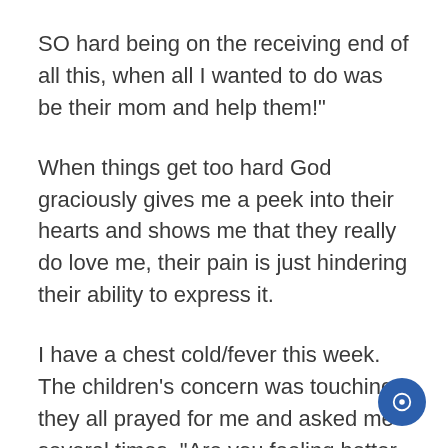SO hard being on the receiving end of all this, when all I wanted to do was be their mom and help them!”
When things get too hard God graciously gives me a peek into their hearts and shows me that they really do love me, their pain is just hindering their ability to express it.
I have a chest cold/fever this week. The children’s concern was touching, they all prayed for me and asked me several times, “Are you feeling better mom?”
I know their real concern was for